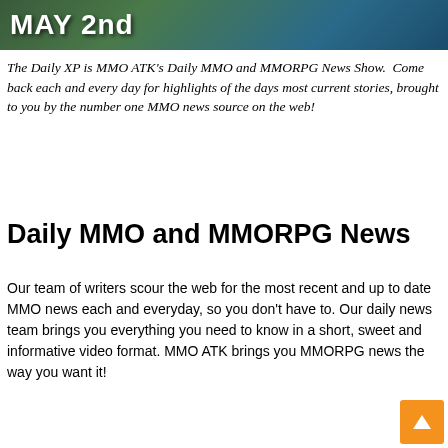[Figure (photo): Banner image with text 'MAY 2nd' overlaid on a green/blue outdoor background]
The Daily XP is MMO ATK's Daily MMO and MMORPG News Show.  Come back each and every day for highlights of the days most current stories, brought to you by the number one MMO news source on the web!
Daily MMO and MMORPG News
Our team of writers scour the web for the most recent and up to date MMO news each and everyday, so you don't have to. Our daily news team brings you everything you need to know in a short, sweet and informative video format. MMO ATK brings you MMORPG news the way you want it!